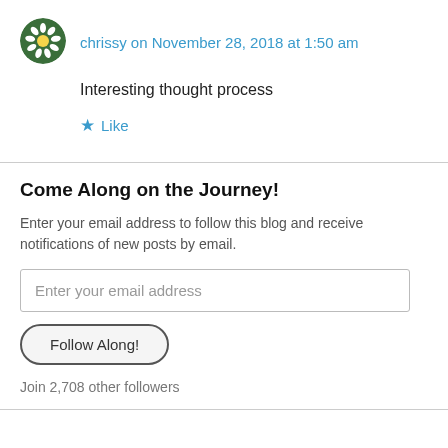[Figure (illustration): Circular avatar icon with green background and white daisy flower in center]
chrissy on November 28, 2018 at 1:50 am
Interesting thought process
★ Like
Come Along on the Journey!
Enter your email address to follow this blog and receive notifications of new posts by email.
Enter your email address
Follow Along!
Join 2,708 other followers